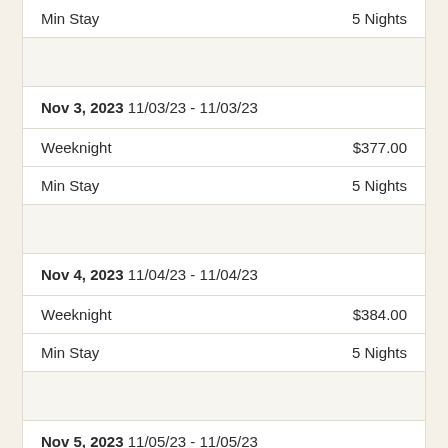| Field | Value |
| --- | --- |
| Min Stay | 5 Nights |
|  |  |
| Nov 3, 2023 11/03/23 - 11/03/23 |  |
| Weeknight | $377.00 |
| Min Stay | 5 Nights |
|  |  |
| Nov 4, 2023 11/04/23 - 11/04/23 |  |
| Weeknight | $384.00 |
| Min Stay | 5 Nights |
|  |  |
| Nov 5, 2023 11/05/23 - 11/05/23 |  |
| Weeknight | $334.00 |
| Min Stay | 5 Nights |
|  |  |
| Nov 6, 2023 11/06/23 - 11/06/23 |  |